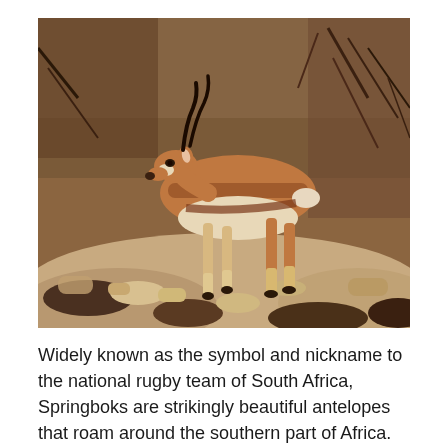[Figure (photo): A springbok antelope standing on rocky, arid ground with dry shrubs and branches in the background. The animal has a reddish-brown coat with a white underside, black facial markings, and curved black horns. It is viewed from the side.]
Widely known as the symbol and nickname to the national rugby team of South Africa, Springboks are strikingly beautiful antelopes that roam around the southern part of Africa. Springboks are famed